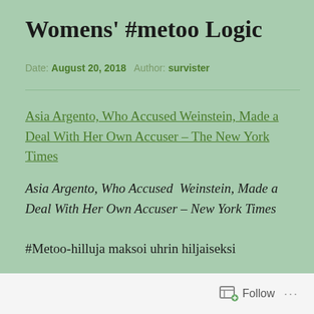Womens' #metoo Logic
Date: August 20, 2018  Author: survister
Asia Argento, Who Accused Weinstein, Made a Deal With Her Own Accuser – The New York Times
Asia Argento, Who Accused  Weinstein, Made a Deal With Her Own Accuser – New York Times
#Metoo-hilluja maksoi uhrin hiljaiseksi
Follow